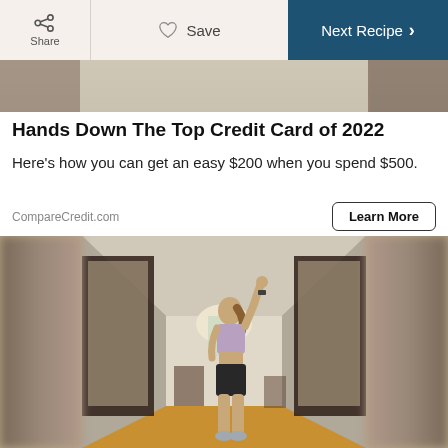Share  Save  Next Recipe
[Figure (photo): Recipe hero image strip at top of page — blurred fitness/food image]
Hands Down The Top Credit Card of 2022
Here's how you can get an easy $200 when you spend $500.
CompareCredit.com
Learn More
[Figure (photo): Woman in athletic wear (lavender sports bra and black shorts) standing in a hallway with one arm raised, shot from a slight angle showing her side profile. Blurred panels on left and right sides of image.]